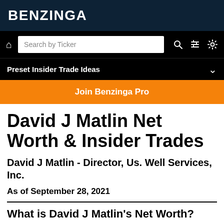BENZINGA
[Figure (screenshot): Navigation bar with home icon, Search by Ticker input box, search icon, filter icon, and settings icon on black background]
Preset Insider Trade Ideas
Join Benzinga Pro
David J Matlin Net Worth & Insider Trades
David J Matlin - Director, Us. Well Services, Inc.
As of September 28, 2021
What is David J Matlin's Net Worth?